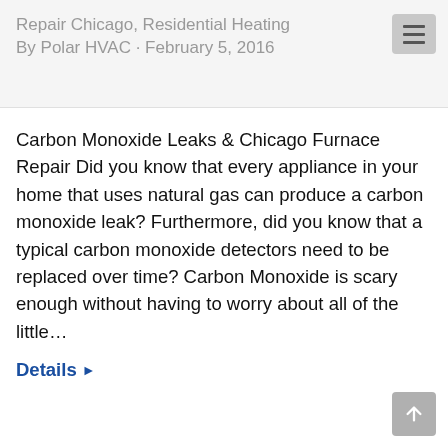Repair Chicago, Residential Heating By Polar HVAC · February 5, 2016
Carbon Monoxide Leaks & Chicago Furnace Repair Did you know that every appliance in your home that uses natural gas can produce a carbon monoxide leak? Furthermore, did you know that a typical carbon monoxide detectors need to be replaced over time? Carbon Monoxide is scary enough without having to worry about all of the little…
Details ▸